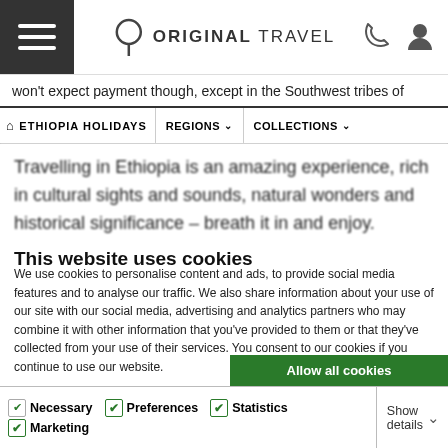ORIGINAL TRAVEL
won't expect payment though, except in the Southwest tribes of
ETHIOPIA HOLIDAYS   REGIONS   COLLECTIONS
Travelling in Ethiopia is an amazing experience, rich in cultural sights and sounds, natural wonders and historical significance – breath it in and enjoy.
This website uses cookies
We use cookies to personalise content and ads, to provide social media features and to analyse our traffic. We also share information about your use of our site with our social media, advertising and analytics partners who may combine it with other information that you've provided to them or that they've collected from your use of their services. You consent to our cookies if you continue to use our website.
Allow all cookies
Allow selection
Use necessary cookies only
Necessary   Preferences   Statistics   Marketing   Show details